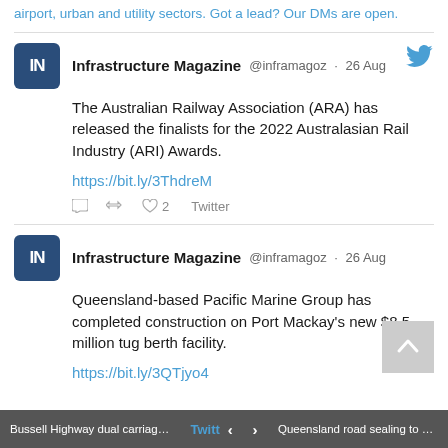airport, urban and utility sectors. Got a lead? Our DMs are open.
Infrastructure Magazine @inframagoz · 26 Aug
The Australian Railway Association (ARA) has released the finalists for the 2022 Australasian Rail Industry (ARI) Awards.
https://bit.ly/3ThdreM
Infrastructure Magazine @inframagoz · 26 Aug
Queensland-based Pacific Marine Group has completed construction on Port Mackay's new $8.5 million tug berth facility.
https://bit.ly/3QTjyo4
Bussell Highway dual carriageway tender... Twitt < > Queensland road sealing to boost cattle ...